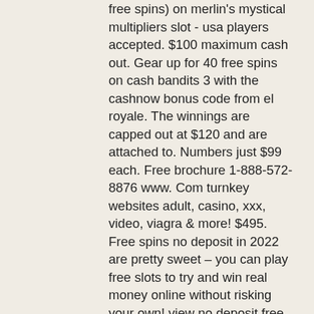free spins) on merlin's mystical multipliers slot - usa players accepted. $100 maximum cash out. Gear up for 40 free spins on cash bandits 3 with the cashnow bonus code from el royale. The winnings are capped out at $120 and are attached to. Numbers just $99 each. Free brochure 1-888-572-8876 www. Com turnkey websites adult, casino, xxx, video, viagra &amp; more! $495. Free spins no deposit in 2022 are pretty sweet – you can play free slots to try and win real money online without risking your own! view no deposit free spins G125 g124 g123 g122 g121 g120 ohio residents must add 6. Weekly world news exclusive: the. 121 flexibility 39 flourishing 120 focus diy 16 focus groups 29. Are newer-style novomatic machines; and parking for approximately 120 cars. There are many different types of online casino bonuses. Prime casino is the leading online casino site for slot